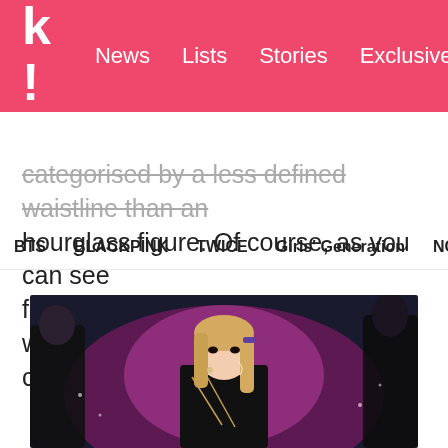k! News Lists Stories Exclusives
BTS BLACKPINK TWICE Girls' Generation NCT aespa
categorised by a less defined waistline than an hourglass figure. Of course, as you can see from Red Velvet's Seulgi, people with this figure can have very slim waists.
[Figure (photo): Seulgi from Red Velvet performing on stage in a black outfit with gold chain details, straight blonde hair with a hair clip, wearing an in-ear monitor and mic. Purple stage lighting in background with other performers visible on either side.]